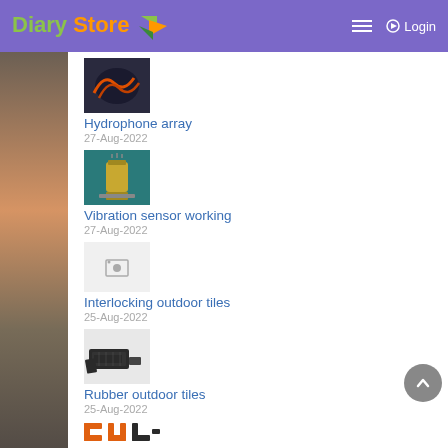Diary Store
[Figure (photo): Hydrophone array product image - orange cables]
Hydrophone array
27-Aug-2022
[Figure (photo): Vibration sensor - cylindrical metal device on teal background]
Vibration sensor working
27-Aug-2022
[Figure (photo): Placeholder image icon for Interlocking outdoor tiles]
Interlocking outdoor tiles
25-Aug-2022
[Figure (photo): Rubber outdoor tiles - dark grey rubber tiles being installed]
Rubber outdoor tiles
25-Aug-2022
[Figure (logo): Footer logo - orange bracket/conveyor icon]